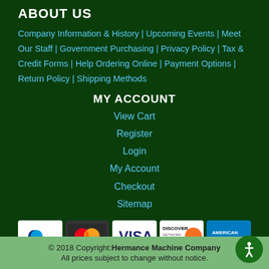ABOUT US
Company Information & History | Upcoming Events | Meet Our Staff | Government Purchasing | Privacy Policy | Tax & Credit Forms | Help Ordering Online | Payment Options | Return Policy | Shipping Methods
MY ACCOUNT
View Cart
Register
Login
My Account
Checkout
Sitemap
[Figure (infographic): Payment method logos: PayPal, MasterCard, Visa, Discover Network, American Express]
© 2018 Copyright: Hermance Machine Company All prices subject to change without notice.